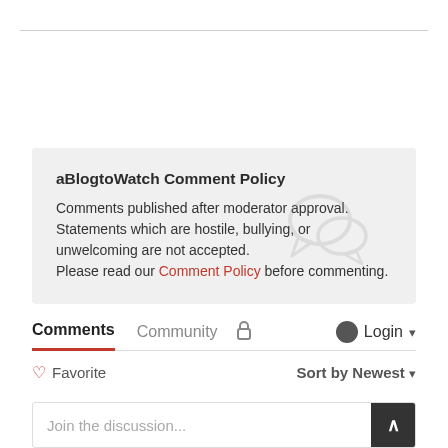aBlogtoWatch Comment Policy
Comments published after moderator approval. Statements which are hostile, bullying, or unwelcoming are not accepted. Please read our Comment Policy before commenting.
Comments  Community  🔒  Login ▾
♡ Favorite    Sort by Newest ▾
Join the discussion...